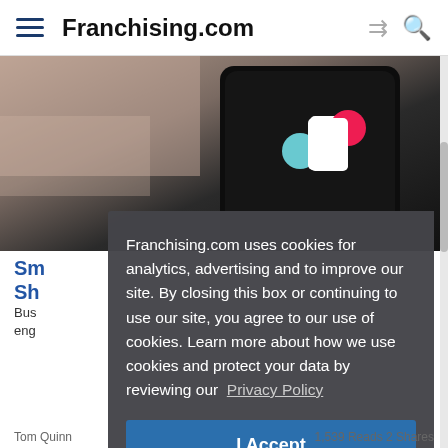Franchising.com
[Figure (screenshot): Article header image showing a smartphone with TikTok logo on a fabric background]
Sm... Sh...
Bus... eng...
Franchising.com uses cookies for analytics, advertising and to improve our site. By closing this box or continuing to use our site, you agree to our use of cookies. Learn more about how we use cookies and protect your data by reviewing our Privacy Policy
I Accept
Tom Quinn   1,539 Reads 2 Shares